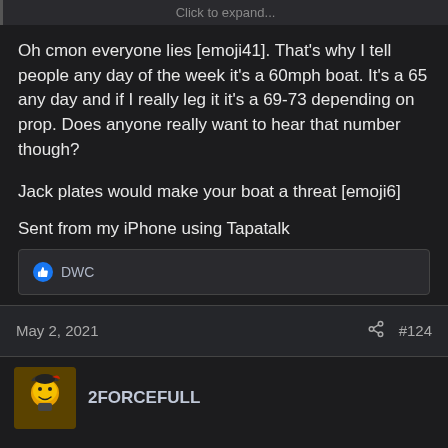Click to expand...
Oh cmon everyone lies [emoji41]. That's why I tell people any day of the week it's a 60mph boat. It's a 65 any day and if I really leg it it's a 69-73 depending on prop. Does anyone really want to hear that number though?
Jack plates would make your boat a threat [emoji6]
Sent from my iPhone using Tapatalk
DWC
May 2, 2021   #124
2FORCEFULL